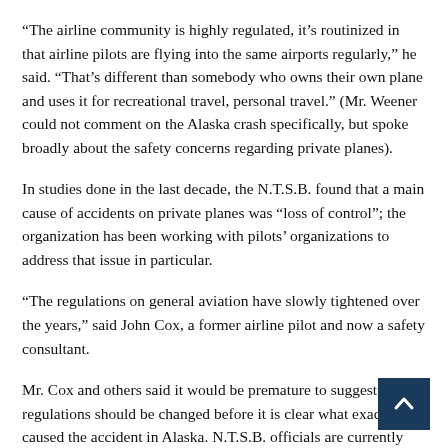“The airline community is highly regulated, it’s routinized in that airline pilots are flying into the same airports regularly,” he said. “That’s different than somebody who owns their own plane and uses it for recreational travel, personal travel.” (Mr. Weener could not comment on the Alaska crash specifically, but spoke broadly about the safety concerns regarding private planes).
In studies done in the last decade, the N.T.S.B. found that a main cause of accidents on private planes was “loss of control”; the organization has been working with pilots’ organizations to address that issue in particular.
“The regulations on general aviation have slowly tightened over the years,” said John Cox, a former airline pilot and now a safety consultant.
Mr. Cox and others said it would be premature to suggest regulations should be changed before it is clear what exactly caused the accident in Alaska. N.T.S.B. officials are currently